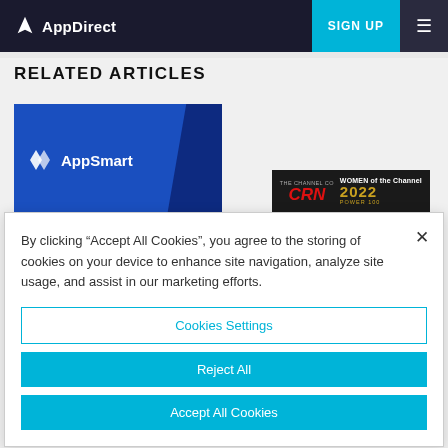AppDirect | SIGN UP
RELATED ARTICLES
[Figure (screenshot): AppSmart logo banner and CRN Women of the Channel 2022 Power 100 badge article thumbnails]
By clicking “Accept All Cookies”, you agree to the storing of cookies on your device to enhance site navigation, analyze site usage, and assist in our marketing efforts.
Cookies Settings
Reject All
Accept All Cookies